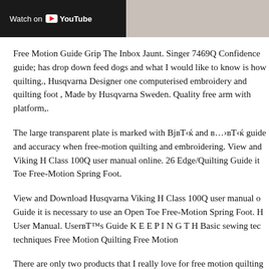[Figure (screenshot): YouTube video thumbnail strip: left portion shows dark background with 'Watch on YouTube' text and YouTube logo; right portion shows a grey/beige image thumbnail.]
Free Motion Guide Grip The Inbox Jaunt. Singer 7469Q Confidence guide; has drop down feed dogs and what I would like to know is how quilting., Husqvarna Designer one computerised embroidery and quilting foot , Made by Husqvarna Sweden. Quality free arm with platform,.
The large transparent plate is marked with BjвЋќ and в…›вЋќ guide and accuracy when free-motion quilting and embroidering. View and Viking H Class 100Q user manual online. 26 Edge/Quilting Guide it Toe Free-Motion Spring Foot.
View and Download Husqvarna Viking H Class 100Q user manual o Guide it is necessary to use an Open Toe Free-Motion Spring Foot. H User Manual. UserвЋ™s Guide K E E P I N G T H Basic sewing tec techniques Free Motion Quilting Free Motion
There are only two products that I really love for free motion quilting about that HERE) and Viking HusqvarnaвЋ™s Free Motion Guide G